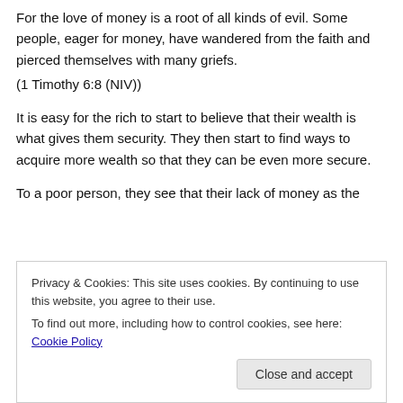For the love of money is a root of all kinds of evil. Some people, eager for money, have wandered from the faith and pierced themselves with many griefs.
(1 Timothy 6:8 (NIV))
It is easy for the rich to start to believe that their wealth is what gives them security. They then start to find ways to acquire more wealth so that they can be even more secure.
To a poor person, they see that their lack of money as the
Privacy & Cookies: This site uses cookies. By continuing to use this website, you agree to their use.
To find out more, including how to control cookies, see here: Cookie Policy